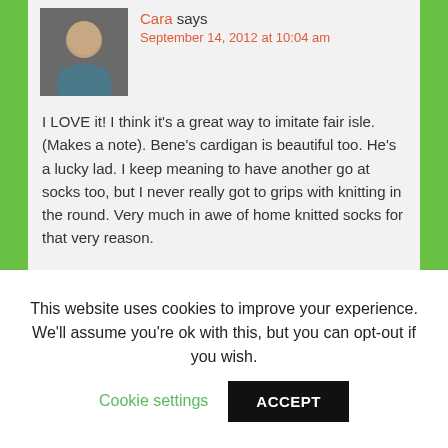[Figure (photo): Avatar photo of Cara, a woman smiling]
Cara says
September 14, 2012 at 10:04 am
I LOVE it! I think it's a great way to imitate fair isle. (Makes a note). Bene's cardigan is beautiful too. He's a lucky lad. I keep meaning to have another go at socks too, but I never really got to grips with knitting in the round. Very much in awe of home knitted socks for that very reason.
[Figure (photo): Avatar placeholder for mum of all trades]
mum of all trades says
This website uses cookies to improve your experience. We'll assume you're ok with this, but you can opt-out if you wish.
Cookie settings
ACCEPT